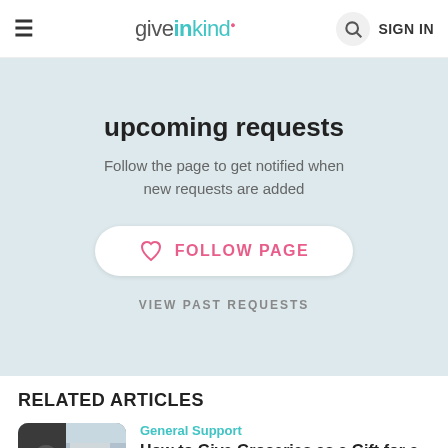giveinkind  SIGN IN
upcoming requests
Follow the page to get notified when new requests are added
FOLLOW PAGE
VIEW PAST REQUESTS
RELATED ARTICLES
General Support
How to Give Groceries as a Gift for a Meal